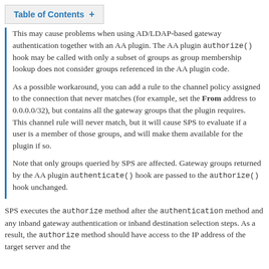Table of Contents +
This may cause problems when using AD/LDAP-based gateway authentication together with an AA plugin. The AA plugin authorize() hook may be called with only a subset of groups as group membership lookup does not consider groups referenced in the AA plugin code.
As a possible workaround, you can add a rule to the channel policy assigned to the connection that never matches (for example, set the From address to 0.0.0.0/32), but contains all the gateway groups that the plugin requires. This channel rule will never match, but it will cause SPS to evaluate if a user is a member of those groups, and will make them available for the plugin if so.
Note that only groups queried by SPS are affected. Gateway groups returned by the AA plugin authenticate() hook are passed to the authorize() hook unchanged.
SPS executes the authorize method after the authentication method and any inband gateway authentication or inband destination selection steps. As a result, the authorize method should have access to the IP address of the target server and the...